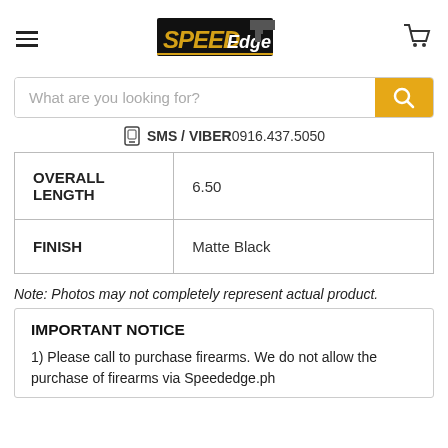SPEED Edge — SMS / VIBER 0916.437.5050
| OVERALL LENGTH | 6.50 |
| FINISH | Matte Black |
Note: Photos may not completely represent actual product.
IMPORTANT NOTICE
1) Please call to purchase firearms. We do not allow the purchase of firearms via Speededge.ph